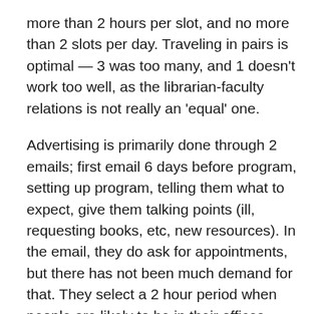more than 2 hours per slot, and no more than 2 slots per day. Traveling in pairs is optimal — 3 was too many, and 1 doesn't work too well, as the librarian-faculty relations is not really an 'equal' one.
Advertising is primarily done through 2 emails; first email 6 days before program, setting up program, telling them what to expect, give them talking points (ill, requesting books, etc, new resources). In the email, they do ask for appointments, but there has not been much demand for that. They select a 2 hour period when people are likely to be in their offices. They also send second email at beginning of 2nd week of visiting, highlighting some of the 'good questions' they've gotten, which seems to spark interest.
They travel with literature (a nice brochure about the